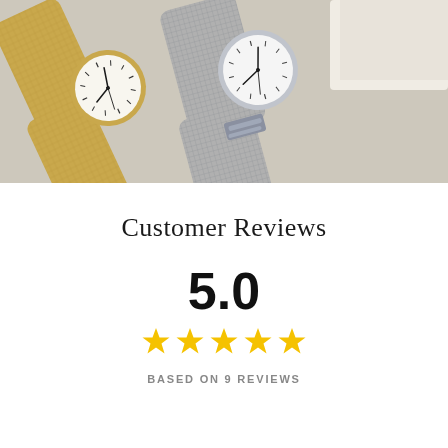[Figure (photo): Two mesh-band watches photographed flat on a light beige surface. Left watch has a gold/champagne mesh band with a round white dial. Right watch has a silver mesh band with a round white dial. A white box edge is visible at top right corner.]
Customer Reviews
5.0
[Figure (other): Five gold filled stars indicating a 5-star rating]
BASED ON 9 REVIEWS